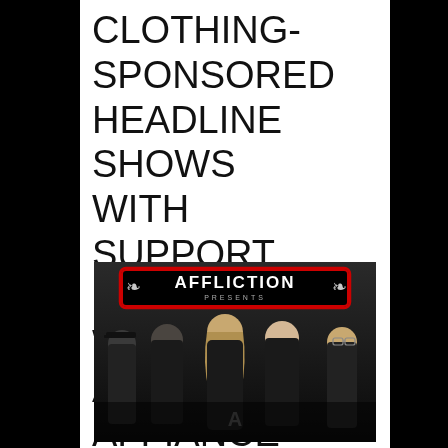CLOTHING-SPONSORED HEADLINE SHOWS WITH SUPPORT FROM THE WORD ALIVE, AFFIANCE
[Figure (photo): Affliction Presents promotional photo showing five band members posed together in dark clothing, with the Affliction logo banner at the top]